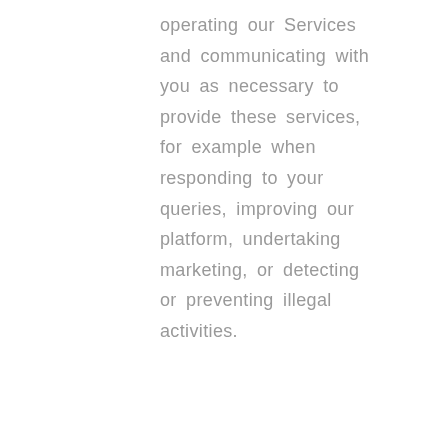operating our Services and communicating with you as necessary to provide these services, for example when responding to your queries, improving our platform, undertaking marketing, or detecting or preventing illegal activities.